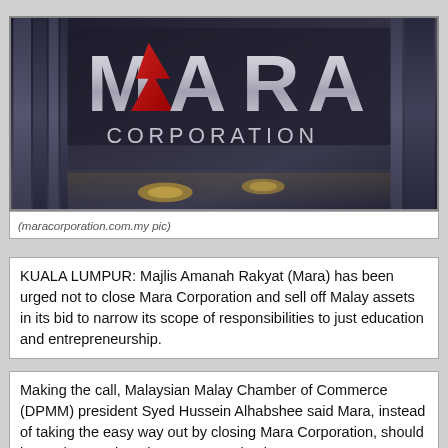[Figure (photo): Photograph of MARA Corporation signage — large metallic letters spelling MARA with a red chevron/arrow logo, and CORPORATION in smaller letters below, against a dark reflective building facade. Warm light reflections visible at bottom.]
(maracorporation.com.my pic)
KUALA LUMPUR: Majlis Amanah Rakyat (Mara) has been urged not to close Mara Corporation and sell off Malay assets in its bid to narrow its scope of responsibilities to just education and entrepreneurship.
Making the call, Malaysian Malay Chamber of Commerce (DPMM) president Syed Hussein Alhabshee said Mara, instead of taking the easy way out by closing Mara Corporation, should instead strengthen the company's business.
"Mara should involve stakeholders in formulating policies and